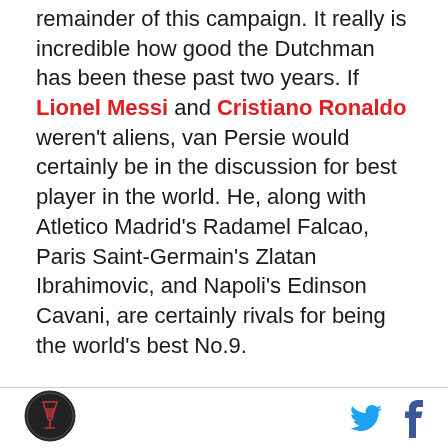remainder of this campaign. It really is incredible how good the Dutchman has been these past two years. If Lionel Messi and Cristiano Ronaldo weren't aliens, van Persie would certainly be in the discussion for best player in the world. He, along with Atletico Madrid's Radamel Falcao, Paris Saint-Germain's Zlatan Ibrahimovic, and Napoli's Edinson Cavani, are certainly rivals for being the world's best No.9.
[Figure (logo): Circular logo with wine glass icon]